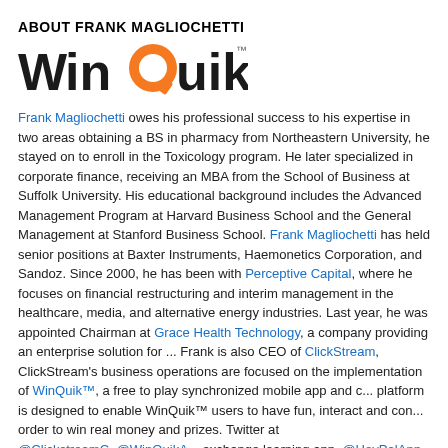ABOUT FRANK MAGLIOCHETTI
[Figure (logo): WinQuik logo — stylized text 'WinQuik' with orange Q and trademark symbol]
Frank Magliochetti owes his professional success to his expertise in two areas: obtaining a BS in pharmacy from Northeastern University, he stayed on to enroll in the Toxicology program. He later specialized in corporate finance, receiving an MBA from the School of Business at Suffolk University. His educational background includes the Advanced Management Program at Harvard Business School and the General Management at Stanford Business School. Frank Magliochetti has held senior positions at Baxter Instruments, Haemonetics Corporation, and Sandoz. Since 2000, he has been with Perceptive Capital, where he focuses on financial restructuring and interim management in the healthcare, media, and alternative energy industries. Last year, he was appointed Chairman at Grace Health Technology, a company providing an enterprise solution for ... Frank is also CEO of ClickStream, ClickStream's business operations are focused on the implementation of WinQuik™, a free to play synchronized mobile app and c... platform is designed to enable WinQuik™ users to have fun, interact and com... order to win real money and prizes. Twitter at @ClickstreamC @WinQuikA... exchange learning app @HeyPalApp.